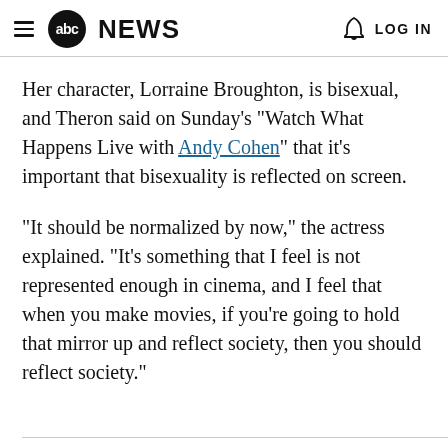abc NEWS   LOG IN
Her character, Lorraine Broughton, is bisexual, and Theron said on Sunday's "Watch What Happens Live with Andy Cohen" that it's important that bisexuality is reflected on screen.
"It should be normalized by now," the actress explained. "It’s something that I feel is not represented enough in cinema, and I feel that when you make movies, if you’re going to hold that mirror up and reflect society, then you should reflect society."